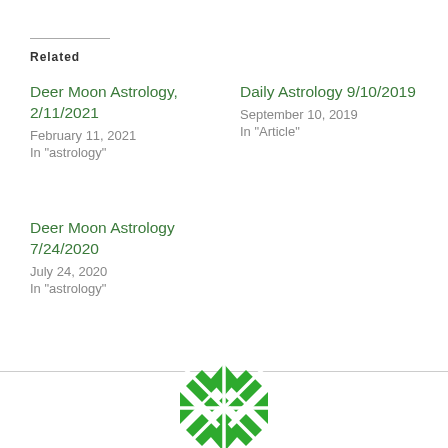Related
Deer Moon Astrology, 2/11/2021
February 11, 2021
In "astrology"
Daily Astrology 9/10/2019
September 10, 2019
In "Article"
Deer Moon Astrology 7/24/2020
July 24, 2020
In "astrology"
[Figure (logo): Green geometric flower/star logo made of interlocking diamond and star shapes, partially visible at the bottom center of the page]